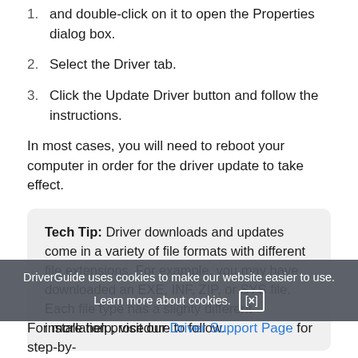and double-click on it to open the Properties dialog box.
Select the Driver tab.
Click the Update Driver button and follow the instructions.
In most cases, you will need to reboot your computer in order for the driver update to take effect.
Tech Tip: Driver downloads and updates come in a variety of file formats with different file extensions. For example, you may have downloaded an EXE, INF, ZIP, or SYS file. Each file type has a slighty different installation procedure to follow.
DriverGuide uses cookies to make our website easier to use. Learn more about cookies. [x]
For more help, visit our Driver Support Page for step-by-